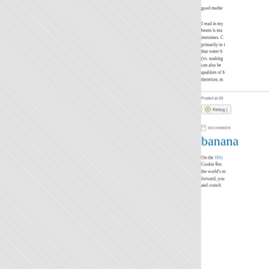good mothe
I read in my beans is ma intestines. C primarily in that water b (vs. soaking can also be qualities of b therefore, m
Posted at 09
Reblog (
DECEMBER
banana
On the 101c Cookie Rec the world's m forward, you and crunch